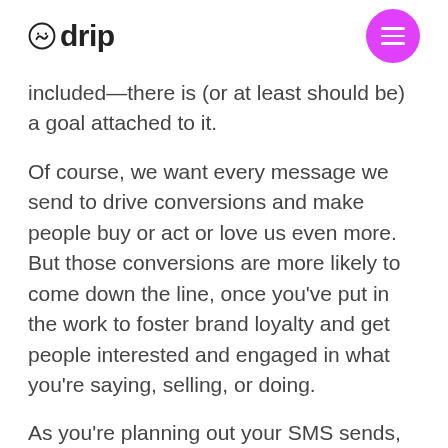drip
included—there is (or at least should be) a goal attached to it.
Of course, we want every message we send to drive conversions and make people buy or act or love us even more. But those conversions are more likely to come down the line, once you've put in the work to foster brand loyalty and get people interested and engaged in what you're saying, selling, or doing.
As you're planning out your SMS sends, consider not only the context of the message but what you hope people will do